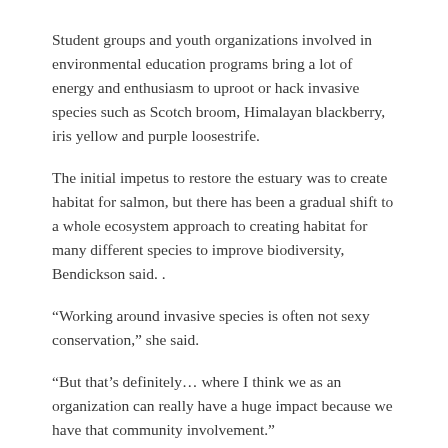Student groups and youth organizations involved in environmental education programs bring a lot of energy and enthusiasm to uproot or hack invasive species such as Scotch broom, Himalayan blackberry, iris yellow and purple loosestrife.
The initial impetus to restore the estuary was to create habitat for salmon, but there has been a gradual shift to a whole ecosystem approach to creating habitat for many different species to improve biodiversity, Bendickson said. .
“Working around invasive species is often not sexy conservation,” she said.
“But that’s definitely… where I think we as an organization can really have a huge impact because we have that community involvement.”
When invasive species outcompete native plants, the resulting